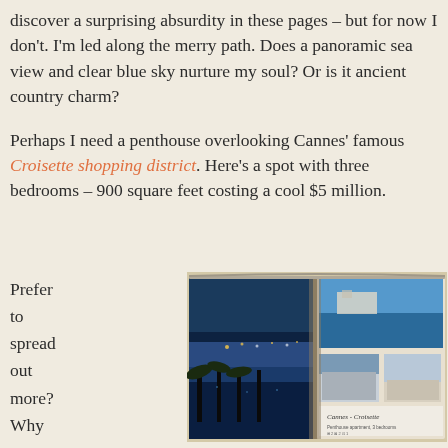discover a surprising absurdity in these pages – but for now I don't. I'm led along the merry path. Does a panoramic sea view and clear blue sky nurture my soul? Or is it ancient country charm?
Perhaps I need a penthouse overlooking Cannes' famous Croisette shopping district. Here's a spot with three bedrooms – 900 square feet costing a cool $5 million.
Prefer to spread out more? Why not visit the
[Figure (photo): Open magazine spread showing Cannes Croisette area — left page shows nighttime panoramic harbor view with palm trees and city lights, right page shows daytime coastal view and terrace/rooftop photos. Caption reads 'Cannes - Croisette'.]